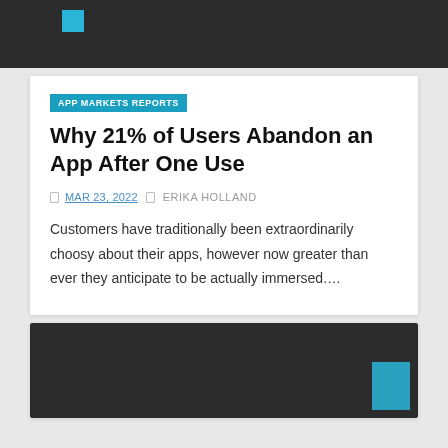[Figure (screenshot): Dark gray banner with a small teal/blue square icon in upper left area]
APP MARKETS REPORTS
Why 21% of Users Abandon an App After One Use
MAR 23, 2022   ERIKA HOLLAND
Customers have traditionally been extraordinarily choosy about their apps, however now greater than ever they anticipate to be actually immersed....
[Figure (screenshot): Dark gray banner at bottom of page with teal/blue square in lower right corner]